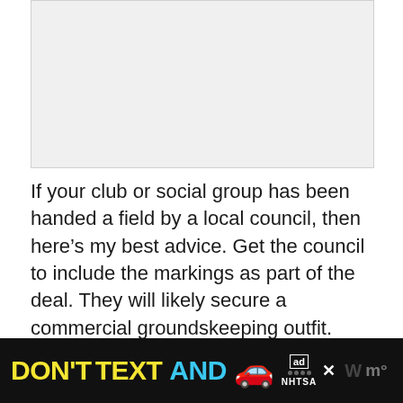[Figure (other): Blank/placeholder image area at top of page]
If your club or social group has been handed a field by a local council, then here’s my best advice. Get the council to include the markings as part of the deal. They will likely secure a commercial groundskeeping outfit.
[Figure (infographic): Advertisement banner: DON'T TEXT AND [car emoji] with ad and NHTSA logos and close button]